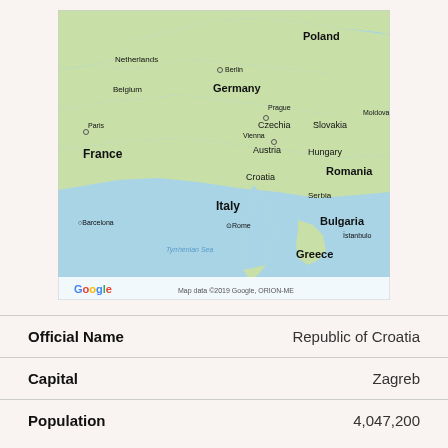[Figure (map): Google Map showing Central Europe centered around Croatia, showing countries including Germany, France, Poland, Czechia, Austria, Slovakia, Hungary, Romania, Bulgaria, Italy, Greece, Serbia, and others. Includes Google logo and 'Map data ©2019 Google, ORION-ME' attribution.]
| Field | Value |
| --- | --- |
| Official Name | Republic of Croatia |
| Capital | Zagreb |
| Population | 4,047,200 |